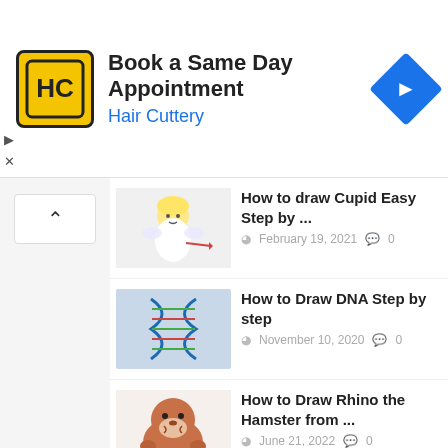[Figure (infographic): Hair Cuttery advertisement banner with yellow/black logo, 'Book a Same Day Appointment' headline, 'Hair Cuttery' subtitle in blue, and blue navigation diamond icon]
How to draw Cupid Easy Step by ... | February 19, 2021 | 0 comments
How to Draw DNA Step by step | November 10, 2020 | 0 comments
How to Draw Rhino the Hamster from ... | June 21, 2022 | 0 comments
Talking Tom and friends – Ultra Marathon ... | July 20, 2019 | 0 comments
Little Girl Drawing Step...